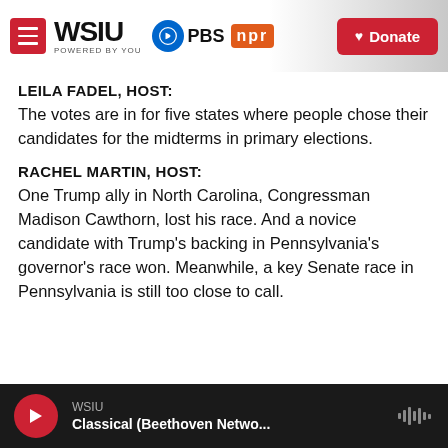WSIU POWERED BY YOU | PBS | npr | Donate
LEILA FADEL, HOST:
The votes are in for five states where people chose their candidates for the midterms in primary elections.
RACHEL MARTIN, HOST:
One Trump ally in North Carolina, Congressman Madison Cawthorn, lost his race. And a novice candidate with Trump's backing in Pennsylvania's governor's race won. Meanwhile, a key Senate race in Pennsylvania is still too close to call.
WSIU | Classical (Beethoven Netwo...